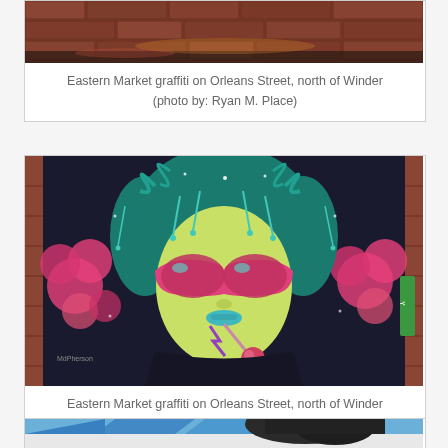[Figure (photo): Bottom portion of Eastern Market graffiti on Orleans Street — brick wall texture visible]
Eastern Market graffiti on Orleans Street, north of Winder
(photo by: Ryan M. Place)
[Figure (photo): Colorful graffiti mural of a girl with teal hair wearing pink sunglasses, holding a lollipop, painted on a dark brick wall with stars and pink floral elements]
Eastern Market graffiti on Orleans Street, north of Winder
(photo by: Ryan M. Place)
[Figure (photo): Top portion of a large outdoor mural showing a dark furry creature against a blue sky with geometric blue stripe design on building facade]